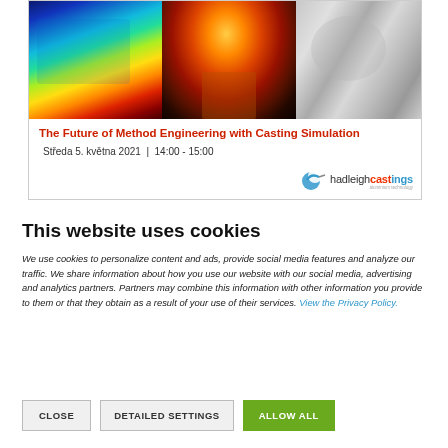[Figure (photo): Banner with three images: thermal simulation colormap, molten metal casting pour, and metal piston component. Below images: title 'The Future of Method Engineering with Casting Simulation', date 'Středa 5. května 2021 | 14:00 - 15:00', and Hadleigh Castings logo.]
This website uses cookies
We use cookies to personalize content and ads, provide social media features and analyze our traffic. We share information about how you use our website with our social media, advertising and analytics partners. Partners may combine this information with other information you provide to them or that they obtain as a result of your use of their services. View the Privacy Policy.